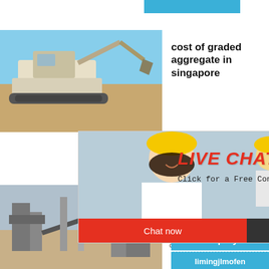[Figure (screenshot): Website screenshot showing construction/mining equipment search results with a live chat popup overlay, machine widget panel on the right side with chat and enquiry buttons]
cost of graded aggregate in singapore
aggregate i... hour online
[Figure (photo): Live chat popup with workers in yellow hard hats, woman in foreground smiling. LIVE CHAT header in red italic, Click for a Free Consultation subtitle, Chat now (red) and Chat later (dark) buttons]
[Figure (photo): White cone crusher machine on blue background]
Click me to chat>>
Enquiry
limingjlmofen
[Figure (photo): Industrial aggregate crushing plant facility]
crushed singapore sadowy
crushed s...